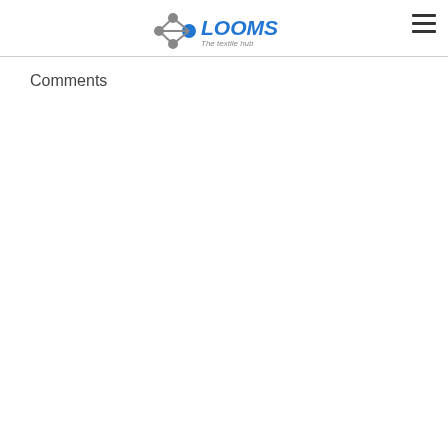LOOMS — The textile hub
Comments